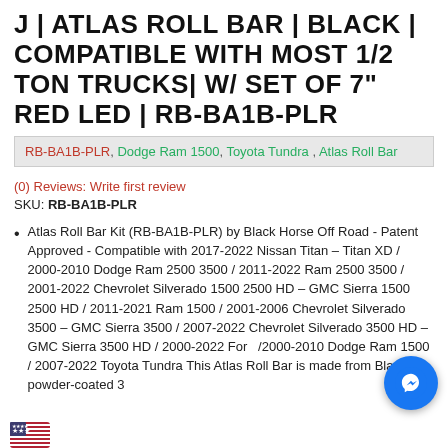J | ATLAS ROLL BAR | BLACK | COMPATIBLE WITH MOST 1/2 TON TRUCKS| W/ SET OF 7" RED LED | RB-BA1B-PLR
RB-BA1B-PLR, Dodge Ram 1500, Toyota Tundra, Atlas Roll Bar
(0) Reviews: Write first review
SKU: RB-BA1B-PLR
Atlas Roll Bar Kit (RB-BA1B-PLR) by Black Horse Off Road - Patent Approved - Compatible with 2017-2022 Nissan Titan – Titan XD / 2000-2010 Dodge Ram 2500 3500 / 2011-2022 Ram 2500 3500 / 2001-2022 Chevrolet Silverado 1500 2500 HD – GMC Sierra 1500 2500 HD / 2011-2021 Ram 1500 / 2001-2006 Chevrolet Silverado 3500 – GMC Sierra 3500 / 2007-2022 Chevrolet Silverado 3500 HD – GMC Sierra 3500 HD / 2000-2022 Ford /2000-2010 Dodge Ram 1500 / 2007-2022 Toyota Tundra This Atlas Roll Bar is made from Black powder-coated 3